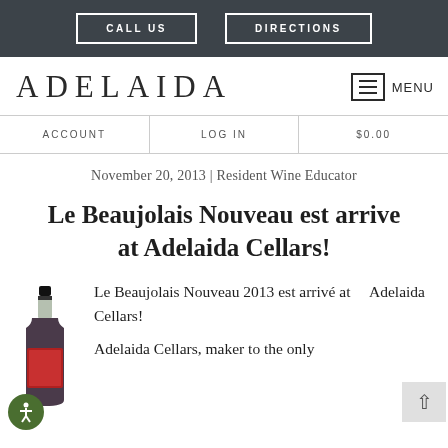CALL US | DIRECTIONS
ADELAIDA
ACCOUNT | LOG IN | $0.00
November 20, 2013 | Resident Wine Educator
Le Beaujolais Nouveau est arrive at Adelaida Cellars!
[Figure (photo): Wine bottle photo for Le Beaujolais Nouveau 2013]
Le Beaujolais Nouveau 2013 est arrivé at    Adelaida Cellars!
Adelaida Cellars, maker to the only